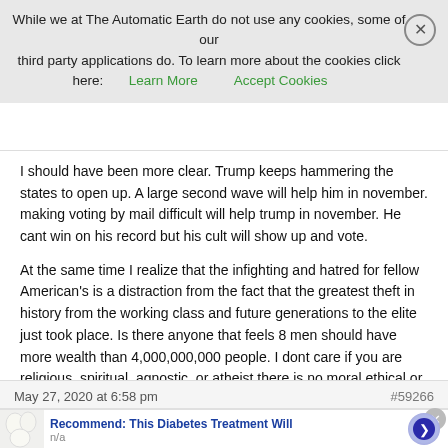While we at The Automatic Earth do not use any cookies, some of our third party applications do. To learn more about the cookies click here: Learn More   Accept Cookies
I should have been more clear. Trump keeps hammering the states to open up. A large second wave will help him in november. making voting by mail difficult will help trump in november. He cant win on his record but his cult will show up and vote.

At the same time I realize that the infighting and hatred for fellow American's is a distraction from the fact that the greatest theft in history from the working class and future generations to the elite just took place. Is there anyone that feels 8 men should have more wealth than 4,000,000,000 people. I dont care if you are religious, spiritual, agnostic, or atheist there is no moral ethical or even logical way that makes sense.
May 27, 2020 at 6:58 pm
#59266
Recommend: This Diabetes Treatment Will
n/a